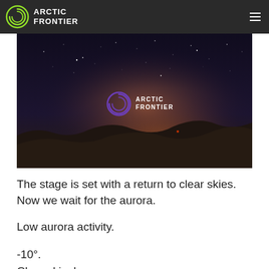ARCTIC FRONTIER
[Figure (photo): Night sky photograph showing a starry dark blue/purple sky above snow-covered hills or dunes, with a warm orange glow on the horizon. The Arctic Frontier logo is overlaid in the center of the image.]
The stage is set with a return to clear skies. Now we wait for the aurora.
Low aurora activity.
-10°.
Clear skies!